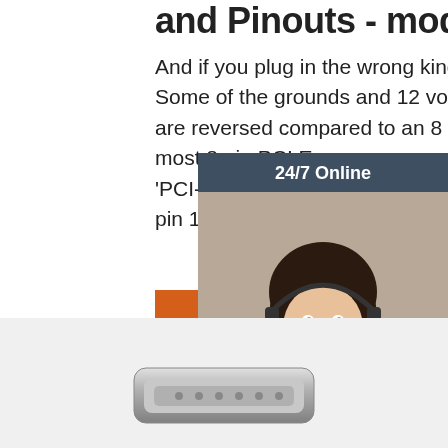and Pinouts - modDIY.com
And if you plug in the wrong kind of cable then expect fireworks. Some of the grounds and 12 volts wires for an EPS 8 pin 12 volt are reversed compared to an 8 pin PCI Express. Fortunately, most 8 pin PCI Express connectors are labeled 'PCI-E' so people won't confuse them with the 8 pin 12 volt cables.
[Figure (illustration): 24/7 Online chat widget with photo of a woman wearing a headset smiling, dark slate blue background, 'Click here for free chat!' text and an orange QUOTATION button]
Get Price
[Figure (photo): Partially visible metallic cable connector at the bottom of the page]